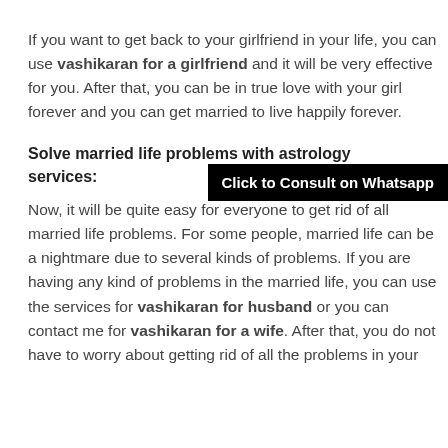If you want to get back to your girlfriend in your life, you can use vashikaran for a girlfriend and it will be very effective for you. After that, you can be in true love with your girl forever and you can get married to live happily forever.
Solve married life problems with astrology services:
[Figure (other): Black button overlay with white bold text reading 'Click to Consult on Whatsapp']
Now, it will be quite easy for everyone to get rid of all married life problems. For some people, married life can be a nightmare due to several kinds of problems. If you are having any kind of problems in the married life, you can use the services for vashikaran for husband or you can contact me for vashikaran for a wife. After that, you do not have to worry about getting rid of all the problems in your